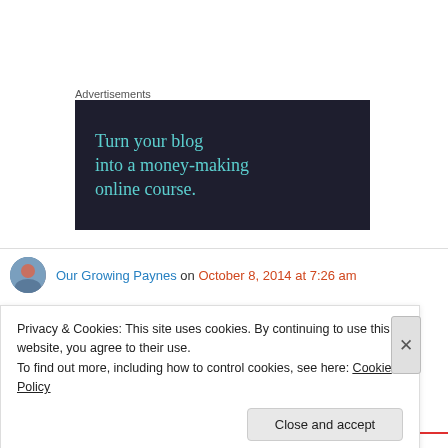Advertisements
[Figure (illustration): Dark navy background advertisement banner with teal text reading: Turn your blog into a money-making online course.]
Our Growing Paynes on October 8, 2014 at 7:26 am
Privacy & Cookies: This site uses cookies. By continuing to use this website, you agree to their use.
To find out more, including how to control cookies, see here: Cookie Policy
Close and accept